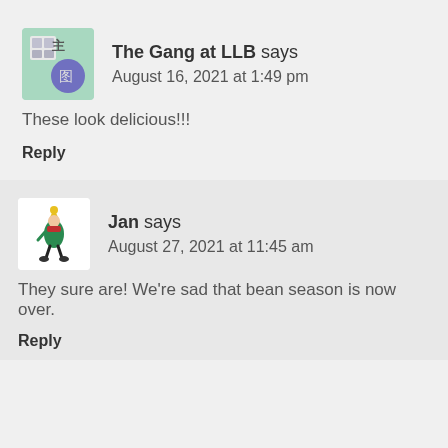[Figure (illustration): Avatar icon for The Gang at LLB — a teal/green square with illustrated building/shop icons and a purple circle]
The Gang at LLB says
August 16, 2021 at 1:49 pm
These look delicious!!!
Reply
[Figure (illustration): Avatar icon for Jan — a figure of a person in a green dress with a yellow hat]
Jan says
August 27, 2021 at 11:45 am
They sure are! We're sad that bean season is now over.
Reply